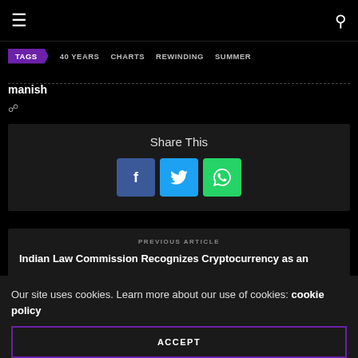☰  🔍
TAGS  40 YEARS  CHARTS  REWINDING  SUMMER
manish
🔗
Share This
Previous Article: Indian Law Commission Recognizes Cryptocurrency as an
Our site uses cookies. Learn more about our use of cookies: cookie policy
ACCEPT